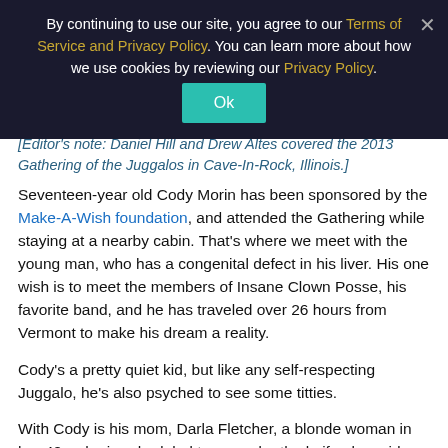By continuing to use our site, you agree to our Terms of Service and Privacy Policy. You can learn more about how we use cookies by reviewing our Privacy Policy. [Ok button] [Close X]
[Editor's note: Daniel Hill and Drew Altes covered the 2013 Gathering of the Juggalos in Cave-In-Rock, Illinois.]
Seventeen-year old Cody Morin has been sponsored by the Make-A-Wish foundation, and attended the Gathering while staying at a nearby cabin. That's where we meet with the young man, who has a congenital defect in his liver. His one wish is to meet the members of Insane Clown Posse, his favorite band, and he has traveled over 26 hours from Vermont to make his dream a reality.
Cody's a pretty quiet kid, but like any self-respecting Juggalo, he's also psyched to see some titties.
With Cody is his mom, Darla Fletcher, a blonde woman in her 40s who is scheduled to go under the knife alongside Cody in about eight weeks. “No alcohol for me,” she says with a laugh. She will be donating a piece of her liver to her son, who is not eligible for a liver from a deceased donor. “They say he's not sick enough,” she says, rolling her eyes, despite the fact that he has had over